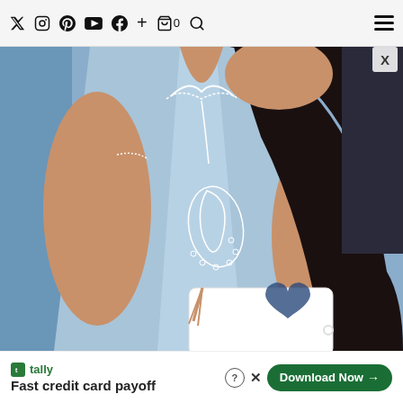Twitter Instagram Pinterest YouTube Facebook + Cart(0) Search | Menu
[Figure (photo): A woman wearing a light blue embroidered V-neck short-sleeve dress with white floral and paisley embroidery, holding a white clutch bag with dark blue heart-shaped sunglasses on top. She has long dark hair.]
X
tally Fast credit card payoff  Download Now →